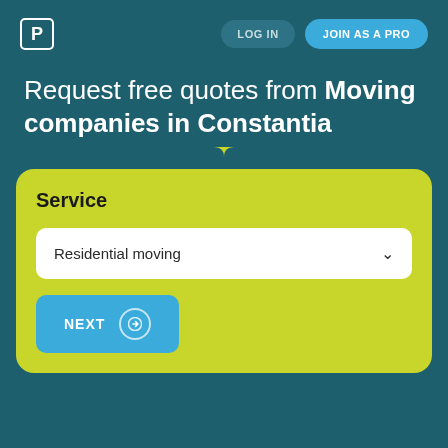[Figure (logo): White letter P in a square border — Porch/platform logo]
LOG IN
JOIN AS A PRO
Request free quotes from Moving companies in Constantia
Service
Residential moving
NEXT